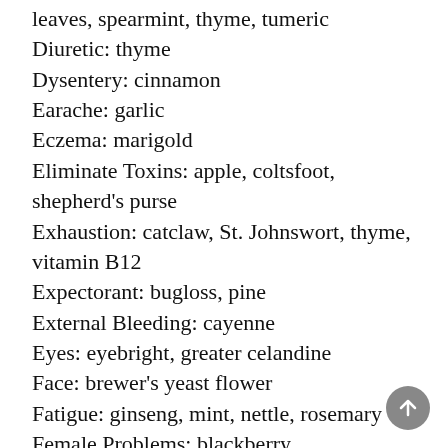leaves, spearmint, thyme, tumeric
Diuretic: thyme
Dysentery: cinnamon
Earache: garlic
Eczema: marigold
Eliminate Toxins: apple, coltsfoot, shepherd's purse
Exhaustion: catclaw, St. Johnswort, thyme, vitamin B12
Expectorant: bugloss, pine
External Bleeding: cayenne
Eyes: eyebright, greater celandine
Face: brewer's yeast flower
Fatigue: ginseng, mint, nettle, rosemary
Female Problems: blackberry